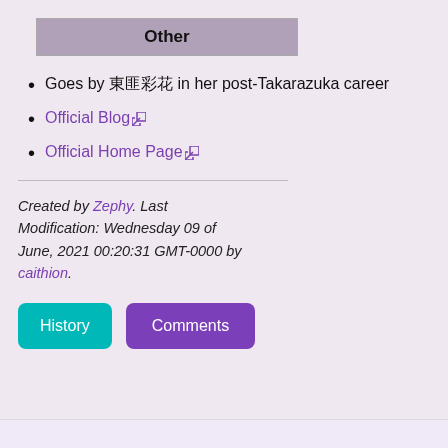Other
Goes by 桜咲彩花 in her post-Takarazuka career
Official Blog [external link]
Official Home Page [external link]
Created by Zephy. Last Modification: Wednesday 09 of June, 2021 00:20:31 GMT-0000 by caithion.
History  Comments